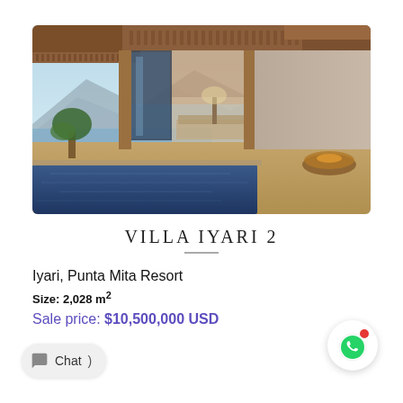[Figure (photo): Luxury villa with infinity pool, wooden architecture, open living space, and mountain/ocean view backdrop. Modern design with glass doors and warm wood tones.]
VILLA IYARI 2
Iyari, Punta Mita Resort
Size: 2,028 m2
Sale price: $10,500,000 USD